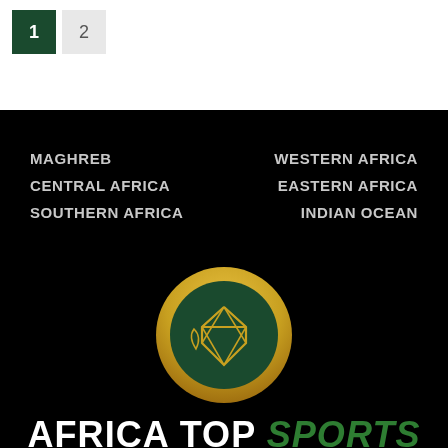1  2
[Figure (logo): Africa Top Sports logo page with region tabs, African region names in two columns on black background, a circular green and gold diamond logo, and the brand name AFRICA TOP SPORTS at the bottom]
AFRICA TOP SPORTS